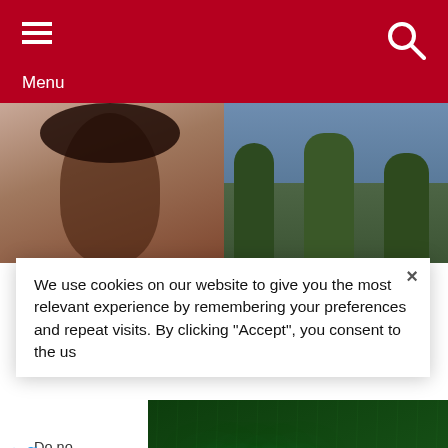Menu
[Figure (screenshot): Two photos side by side: left shows a woman with braids, right shows trees/outdoor scene]
We use cookies on our website to give you the most relevant experience by remembering your preferences and repeat visits. By clicking “Accept”, you consent to the us
Do no
Cook
[Figure (screenshot): Green neon sign advertisement: 'nova, WE'RE OPEN' on dark green rainy background with play/close controls]
[Figure (screenshot): Bottom ad: Leesburg OPEN 10AM-9PM, 241 Fort Evans Rd NE, Leesb, with loop logo and navigation arrow]